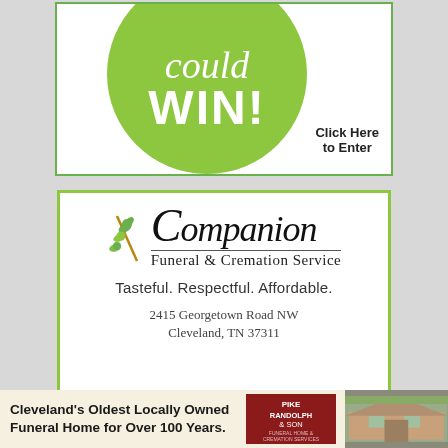[Figure (illustration): Advertisement banner showing a green circle with italic 'could' and bold 'WIN!' text in white, with 'Click Here to Enter' text in the bottom right, inside a white box with green border]
[Figure (logo): Companion Funeral & Cremation Service advertisement with olive branch logo, company name in ornate script, tagline 'Tasteful. Respectful. Affordable.' and address '2415 Georgetown Road NW, Cleveland, TN 37311', inside white box with green border]
[Figure (infographic): Footer banner ad for Pike Randolph & Son Funeral Home with text 'Cleveland's Oldest Locally Owned Funeral Home for Over 100 Years.' alongside logo and building photo]